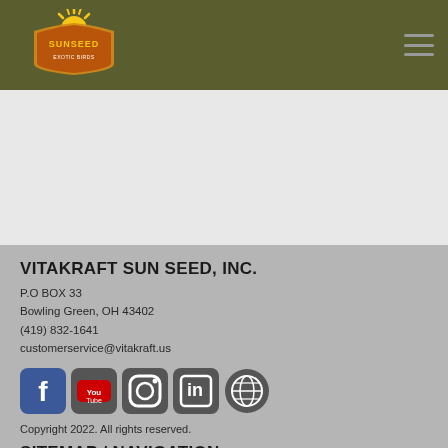[Figure (logo): Sunseed logo on dark olive green header bar]
[Figure (illustration): Hamburger menu icon (three horizontal lines) on top right]
VITAKRAFT SUN SEED, INC.
P.O BOX 33
Bowling Green, OH 43402
(419) 832-1641
customerservice@vitakraft.us
[Figure (logo): Sunseed Guarantee gold badge/seal]
[Figure (illustration): Social media icons row: Facebook, YouTube, Instagram, LinkedIn, Globe/Website]
Copyright 2022. All rights reserved.
SITEMAP / NAVIGATION